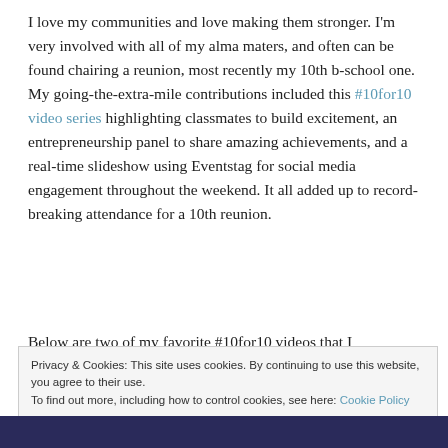I love my communities and love making them stronger. I'm very involved with all of my alma maters, and often can be found chairing a reunion, most recently my 10th b-school one. My going-the-extra-mile contributions included this #10for10 video series highlighting classmates to build excitement, an entrepreneurship panel to share amazing achievements, and a real-time slideshow using Eventstag for social media engagement throughout the weekend. It all added up to record-breaking attendance for a 10th reunion.
Below are two of my favorite #10for10 videos that I
Privacy & Cookies: This site uses cookies. By continuing to use this website, you agree to their use.
To find out more, including how to control cookies, see here: Cookie Policy
Close and accept
[Figure (photo): Dark blue/navy strip at the bottom of the page, partial image]